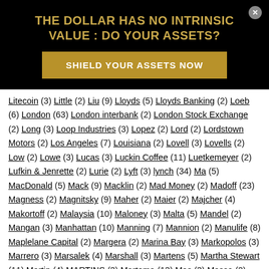THE DOLLAR HAS NO INTRINSIC VALUE : DO YOUR ASSETS?
SHIELD YOUR ASSETS NOW
Litecoin (3) Little (2) Liu (9) Lloyds (5) Lloyds Banking (2) Loeb (6) London (63) London interbank (2) London Stock Exchange (2) Long (3) Loop Industries (3) Lopez (2) Lord (2) Lordstown Motors (2) Los Angeles (7) Louisiana (2) Lovell (3) Lovells (2) Low (2) Lowe (3) Lucas (3) Luckin Coffee (11) Luetkemeyer (2) Lufkin & Jenrette (2) Lurie (2) Lyft (3) lynch (34) Ma (5) MacDonald (5) Mack (9) Macklin (2) Mad Money (2) Madoff (23) Magness (2) Magnitsky (9) Maher (2) Maier (2) Majcher (4) Makortoff (2) Malaysia (10) Maloney (3) Malta (5) Mandel (2) Mangan (3) Manhattan (10) Manning (7) Mannion (2) Manulife (8) Maplelane Capital (2) Margera (2) Marina Bay (3) Markopolos (3) Marrero (3) Marsalek (4) Marshall (3) Martens (5) Martha Stewart (11) Martin (4) MARTINS (3) Martoma (13) Mas (3) Massa (2) Massachusetts (6)